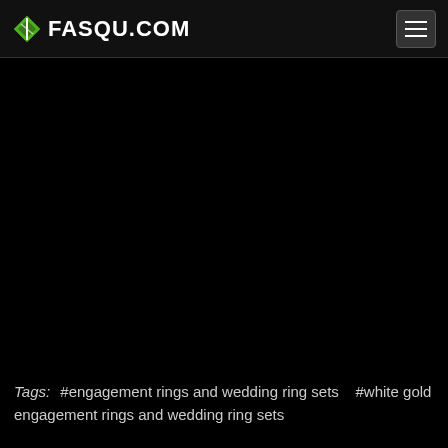FASQU.COM
[Figure (other): Large black empty content area below the navigation header]
Tags: #engagement rings and wedding ring sets #white gold engagement rings and wedding ring sets